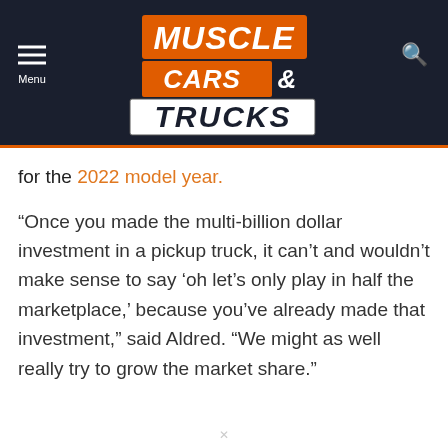[Figure (logo): Muscle Cars & Trucks logo with orange and white text on dark navy background header, with hamburger menu icon on left and search icon on right]
for the 2022 model year.
“Once you made the multi-billion dollar investment in a pickup truck, it can’t and wouldn’t make sense to say ‘oh let’s only play in half the marketplace,’ because you’ve already made that investment,” said Aldred. “We might as well really try to grow the market share.”